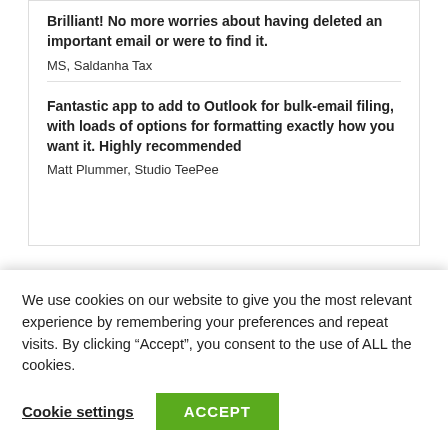Brilliant! No more worries about having deleted an important email or were to find it.
MS, Saldanha Tax
Fantastic app to add to Outlook for bulk-email filing, with loads of options for formatting exactly how you want it. Highly recommended
Matt Plummer, Studio TeePee
Other products
[Figure (logo): Partial logos bar showing FILE, PORT, GIT and partial circular logo icons]
We use cookies on our website to give you the most relevant experience by remembering your preferences and repeat visits. By clicking “Accept”, you consent to the use of ALL the cookies.
Cookie settings
ACCEPT